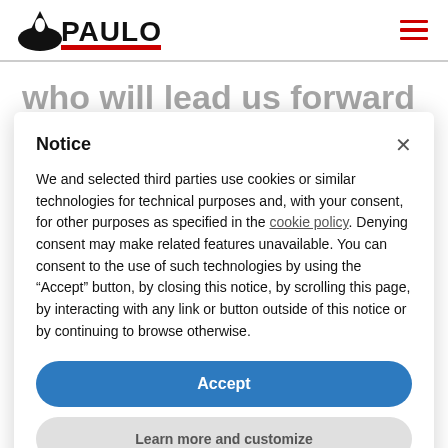PAULO
who will lead us forward
Notice
We and selected third parties use cookies or similar technologies for technical purposes and, with your consent, for other purposes as specified in the cookie policy. Denying consent may make related features unavailable. You can consent to the use of such technologies by using the “Accept” button, by closing this notice, by scrolling this page, by interacting with any link or button outside of this notice or by continuing to browse otherwise.
Accept
Learn more and customize